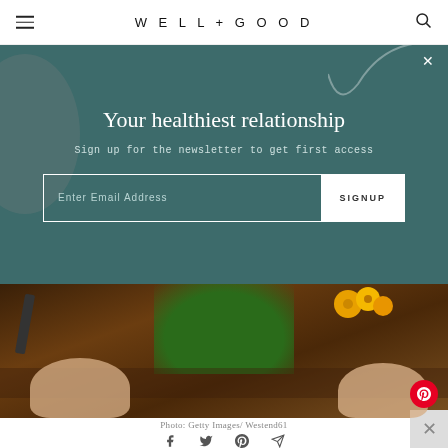WELL+GOOD
Your healthiest relationship
Sign up for the newsletter to get first access
[Figure (photo): Hands planting a green plant with yellow flowers in dark soil, with a trowel on the left side]
Photo: Getty Images/ Westend61